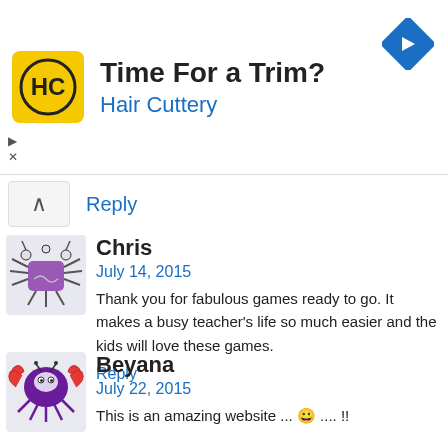[Figure (other): Hair Cuttery advertisement banner with logo, text 'Time For a Trim?' and 'Hair Cuttery', and a blue navigation arrow icon]
Reply
Chris
July 14, 2015
Thank you for fabulous games ready to go. It makes a busy teacher's life so much easier and the kids will love these games.
Reply
Beyana
July 22, 2015
This is an amazing website ... 🙂 .... !!